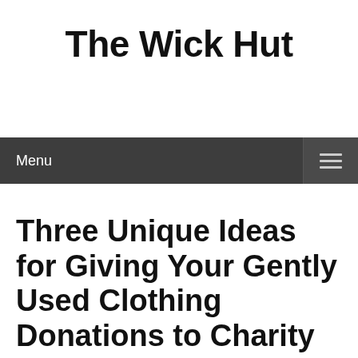The Wick Hut
Menu
Three Unique Ideas for Giving Your Gently Used Clothing Donations to Charity